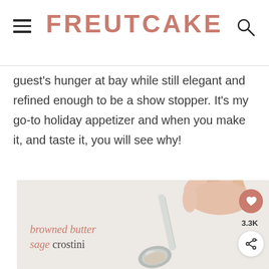FREUTCAKE
guest's hunger at bay while still elegant and refined enough to be a show stopper. It's my go-to holiday appetizer and when you make it, and taste it, you will see why!
[Figure (photo): Hand holding a silver spoon with text overlay 'browned butter sage crostini' on a light background. Social sharing buttons (heart and share) visible on the right edge.]